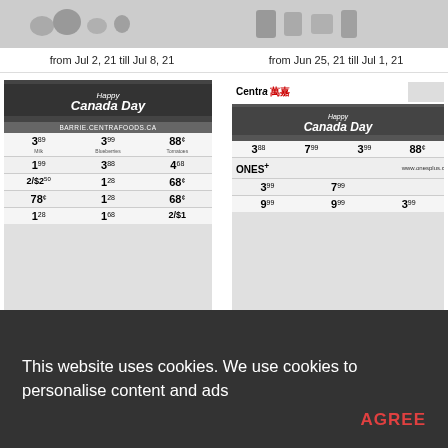[Figure (screenshot): Grocery flyer thumbnail top-left showing produce items]
from Jul 2, 21 till Jul 8, 21
[Figure (screenshot): Grocery flyer thumbnail top-right showing vegetables]
from Jun 25, 21 till Jul 1, 21
[Figure (screenshot): Centra Foods Happy Canada Day flyer - left, showing prices: 3.89, 3.99, 88¢, 1.99, 3.88, 4.68, 2/$2.50, 1.28, 68¢, 78¢, 1.28, 68¢, 1.28, 1.68, 2/$1]
from Jun 25, 21 till Jul 1, 21
[Figure (screenshot): Centra Food Market Happy Canada Day flyer - right, showing prices: 3.88, 7.99, 3.99, 88¢, 3.99, 7.99, 9.99, 9.99, 3.99, ONES+ loyalty program info]
from Jun 25, 21 till Jul 1, 21
This website uses cookies. We use cookies to personalise content and ads
AGREE